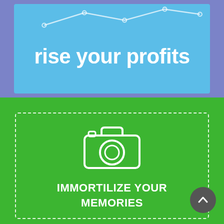[Figure (illustration): Top section with blue/purple background containing a light blue inner panel. Line chart graphic at top and text 'rise your profits' in white bold.]
rise your profits
[Figure (illustration): Green background section with a dashed white border rectangle containing a white camera icon and text 'IMMORTILIZE YOUR MEMORIES' in white bold. A dark circular scroll-to-top button is in the bottom right.]
IMMORTILIZE YOUR MEMORIES